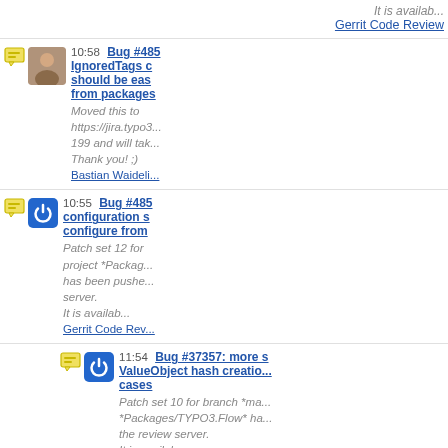It is availab...
Gerrit Code Review
10:58 Bug #485 IgnoredTags c should be eas from packages
Moved this to https://jira.typo3... 199 and will tak... Thank you! ;) Bastian Waideli...
10:55 Bug #485 configuration s configure from
Patch set 12 for project *Packag... has been pushe... server. It is availab... Gerrit Code Rev...
11:54 Bug #37357: more s... ValueObject hash creation cases
Patch set 10 for branch *ma... *Packages/TYPO3.Flow* ha... the review server. It is availab... Gerrit Code Review
11:54 Bug #51236: ValueO generation broken in som
Patch set 10 for branch *ma... *Packages/TYPO3.Flow* h...